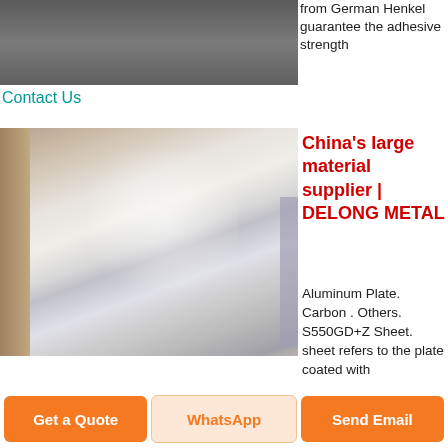[Figure (photo): Top partial photo of a dark metallic/industrial product, cropped at top of page]
from German Henkel guarantee the adhesive strength
Contact Us
[Figure (photo): Photo of aluminum sheets/plates stacked, showing shiny reflective surface with plastic wrap visible]
China's large material supplier | DELONG METAL
Aluminum Plate. Carbon . Others. S550GD+Z Sheet. sheet refers to the plate coated with
Get a Quote
WhatsApp
Send Email